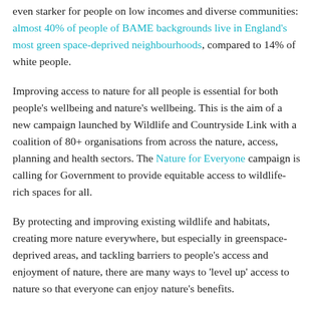even starker for people on low incomes and diverse communities: almost 40% of people of BAME backgrounds live in England's most green space-deprived neighbourhoods, compared to 14% of white people.
Improving access to nature for all people is essential for both people's wellbeing and nature's wellbeing. This is the aim of a new campaign launched by Wildlife and Countryside Link with a coalition of 80+ organisations from across the nature, access, planning and health sectors. The Nature for Everyone campaign is calling for Government to provide equitable access to wildlife-rich spaces for all.
By protecting and improving existing wildlife and habitats, creating more nature everywhere, but especially in greenspace-deprived areas, and tackling barriers to people's access and enjoyment of nature, there are many ways to 'level up' access to nature so that everyone can enjoy nature's benefits.